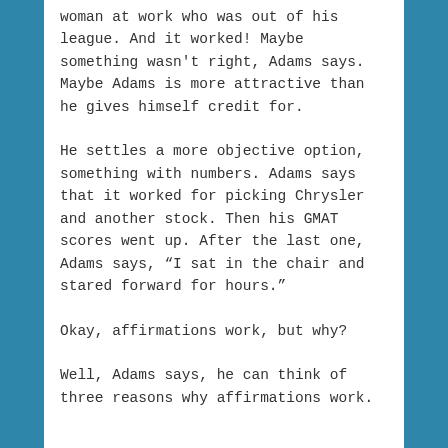woman at work who was out of his league. And it worked! Maybe something wasn't right, Adams says. Maybe Adams is more attractive than he gives himself credit for.
He settles a more objective option, something with numbers. Adams says that it worked for picking Chrysler and another stock. Then his GMAT scores went up. After the last one, Adams says, “I sat in the chair and stared forward for hours.”
Okay, affirmations work, but why?
Well, Adams says, he can think of three reasons why affirmations work.